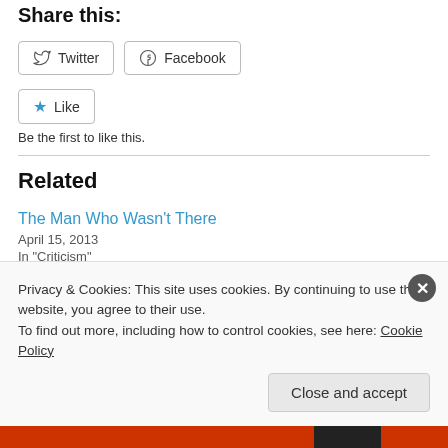Share this:
[Figure (illustration): Social share buttons: Twitter and Facebook]
[Figure (illustration): Like button with star icon]
Be the first to like this.
Related
The Man Who Wasn't There
April 15, 2013
In "Criticism"
Welcome to Collinwood
Privacy & Cookies: This site uses cookies. By continuing to use this website, you agree to their use.
To find out more, including how to control cookies, see here: Cookie Policy
Close and accept